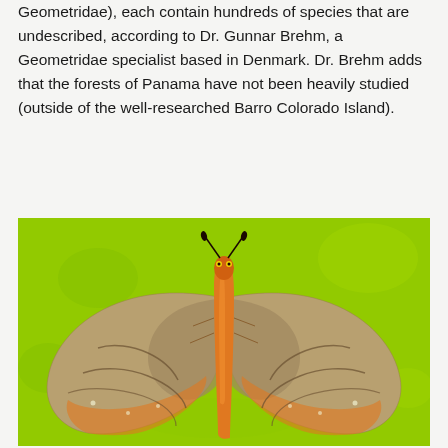Geometridae), each contain hundreds of species that are undescribed, according to Dr. Gunnar Brehm, a Geometridae specialist based in Denmark. Dr. Brehm adds that the forests of Panama have not been heavily studied (outside of the well-researched Barro Colorado Island).
[Figure (photo): A moth with orange body and brownish-grey wings with darker wavy stripe markings, photographed from above against a bright green background. The moth's wings are spread open symmetrically.]